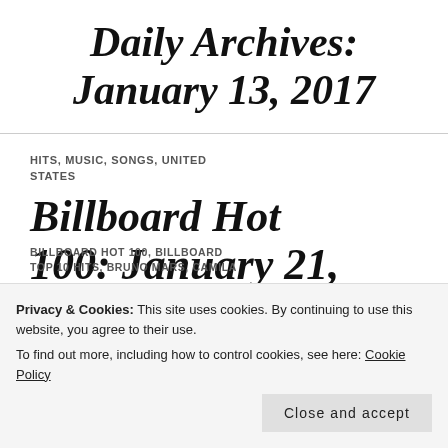Daily Archives: January 13, 2017
HITS, MUSIC, SONGS, UNITED STATES
Billboard Hot 100: January 21,
Privacy & Cookies: This site uses cookies. By continuing to use this website, you agree to their use.
To find out more, including how to control cookies, see here: Cookie Policy
Close and accept
BILLBOARD HOT 100, BILLBOARD TOP 10 HITS, BRUNO MARS, CAMILA